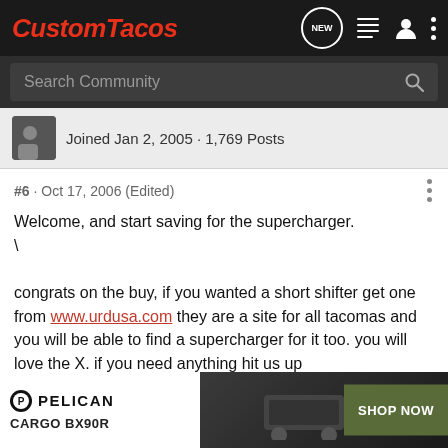CustomTacos — navigation bar with logo, NEW button, list icon, person icon, dots icon
Search Community
Joined Jan 2, 2005 · 1,769 Posts
#6 · Oct 17, 2006 (Edited)
Welcome, and start saving for the supercharger.
\
congrats on the buy, if you wanted a short shifter get one from www.urdusa.com they are a site for all tacomas and you will be able to find a supercharger for it too. you will love the X. if you need anything hit us up
Y-pipe exhaust
http://www.urdusa.com/product_info.p...aa27011a650312
cat-back
http://ww...
[Figure (other): Pelican CARGO BX90R advertisement banner with SHOP NOW button]